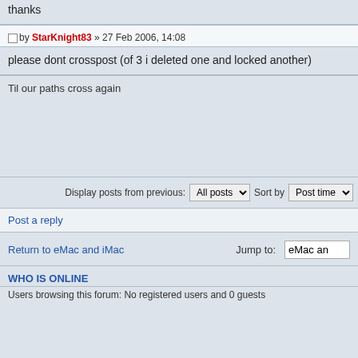thanks
by StarKnight83 » 27 Feb 2006, 14:08
please dont crosspost (of 3 i deleted one and locked another)
Til our paths cross again
Display posts from previous: All posts  Sort by  Post time
Post a reply
Return to eMac and iMac
Jump to:  eMac ar
WHO IS ONLINE
Users browsing this forum: No registered users and 0 guests